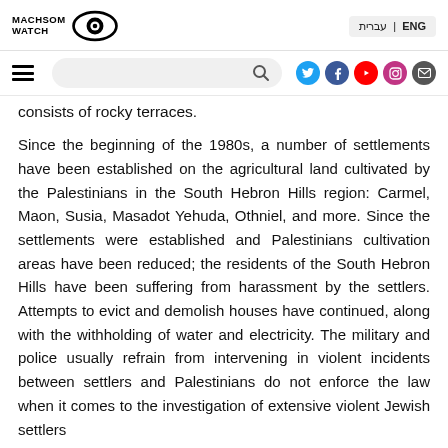Machsom Watch logo and navigation bar with language selector (ENG | עברית), hamburger menu, search box, and social media icons
consists of rocky terraces.
Since the beginning of the 1980s, a number of settlements have been established on the agricultural land cultivated by the Palestinians in the South Hebron Hills region: Carmel, Maon, Susia, Masadot Yehuda, Othniel, and more. Since the settlements were established and Palestinians cultivation areas have been reduced; the residents of the South Hebron Hills have been suffering from harassment by the settlers. Attempts to evict and demolish houses have continued, along with the withholding of water and electricity. The military and police usually refrain from intervening in violent incidents between settlers and Palestinians do not enforce the law when it comes to the investigation of extensive violent Jewish settlers